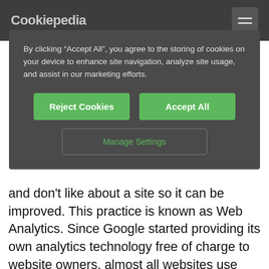Cookiepedia
By clicking “Accept All”, you agree to the storing of cookies on your device to enhance site navigation, analyze site usage, and assist in our marketing efforts.
Reject Cookies
Accept All
Manage Settings
and don't like about a site so it can be improved. This practice is known as Web Analytics. Since Google started providing its own analytics technology free of charge to website owners, almost all websites use some form of it - although there are also paid-for services available to rival Google's.